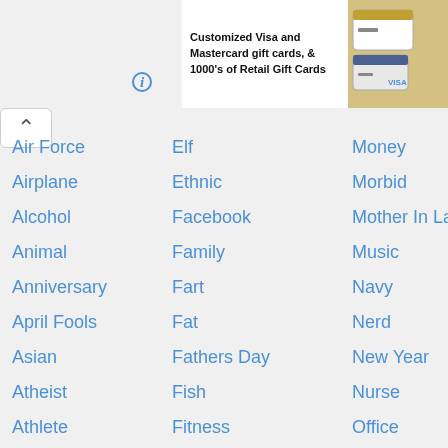Customized Visa and Mastercard gift cards, & 1000's of Retail Gift Cards
Elf
Money
Air Force
Ethnic
Morbid
Airplane
Facebook
Mother In Law
Alcohol
Family
Music
Animal
Fart
Navy
Anniversary
Fat
Nerd
April Fools
Fathers Day
New Year
Asian
Fish
Nurse
Atheist
Fitness
Office
Athlete
Flirt
Old People
Baby
Food
Parrot
Bar
Football
Party
Bartender
Friendship
Phone
Beauty
Funeral
Pirate
Beer
Game
Poems
Bible
Gay
Political